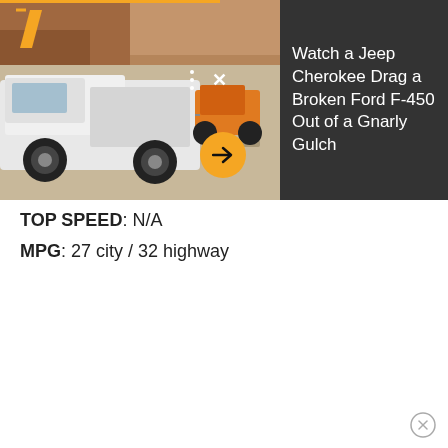[Figure (photo): Screenshot of an automotive article/app page showing a white Ford F-450 truck being towed on rocky terrain, with an orange Jeep Cherokee visible in background. A dark sidebar panel on the right shows the article title 'Watch a Jeep Cherokee Drag a Broken Ford F-450 Out of a Gnarly Gulch'. An orange arrow button overlays the image, orange progress bar at top, three-dot menu and X close button visible, and orange slash logo top-left.]
TOP SPEED: N/A
MPG: 27 city / 32 highway